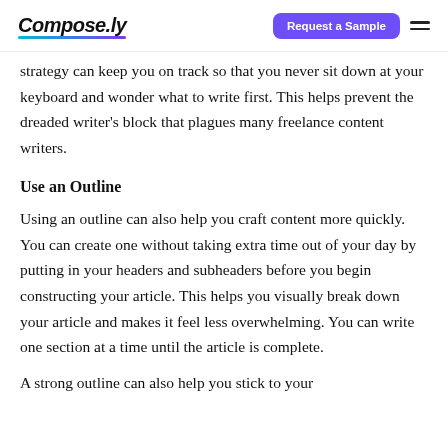Compose.ly | Request a Sample
strategy can keep you on track so that you never sit down at your keyboard and wonder what to write first. This helps prevent the dreaded writer's block that plagues many freelance content writers.
Use an Outline
Using an outline can also help you craft content more quickly. You can create one without taking extra time out of your day by putting in your headers and subheaders before you begin constructing your article. This helps you visually break down your article and makes it feel less overwhelming. You can write one section at a time until the article is complete.
A strong outline can also help you stick to your